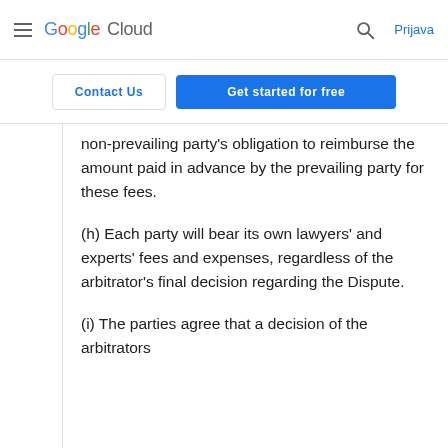Google Cloud — Navigation bar with hamburger menu, Google Cloud logo, search icon, and Prijava link
Contact Us  |  Get started for free
non-prevailing party's obligation to reimburse the amount paid in advance by the prevailing party for these fees.
(h) Each party will bear its own lawyers' and experts' fees and expenses, regardless of the arbitrator's final decision regarding the Dispute.
(i) The parties agree that a decision of the arbitrators